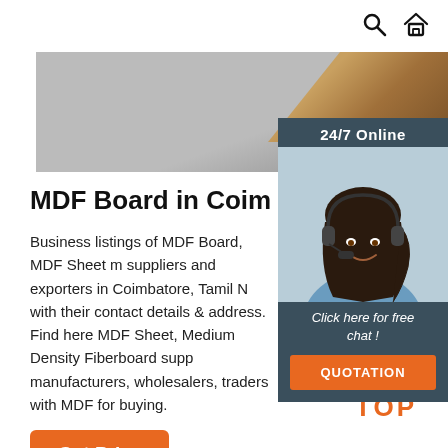search icon, home icon navigation
[Figure (photo): Hero banner image showing MDF boards/wood panels in a grey background with wood elements in the top right corner]
[Figure (photo): 24/7 Online chat panel with a woman wearing a headset, 'Click here for free chat!' text, and a QUOTATION button on dark teal background]
MDF Board in Coimbatore, Tamil
Business listings of MDF Board, MDF Sheet m suppliers and exporters in Coimbatore, Tamil N with their contact details & address. Find here MDF Sheet, Medium Density Fiberboard supp manufacturers, wholesalers, traders with MDF for buying.
[Figure (other): Orange 'Get Price' button]
[Figure (other): Orange 'TOP' button with dotted triangle above it for scrolling to top of page]